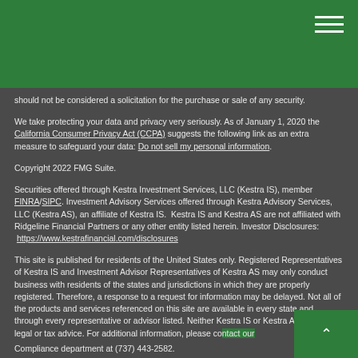should not be considered a solicitation for the purchase or sale of any security.
We take protecting your data and privacy very seriously. As of January 1, 2020 the California Consumer Privacy Act (CCPA) suggests the following link as an extra measure to safeguard your data: Do not sell my personal information.
Copyright 2022 FMG Suite.
Securities offered through Kestra Investment Services, LLC (Kestra IS), member FINRA/SIPC. Investment Advisory Services offered through Kestra Advisory Services, LLC (Kestra AS), an affiliate of Kestra IS.  Kestra IS and Kestra AS are not affiliated with Ridgeline Financial Partners or any other entity listed herein. Investor Disclosures:  https://www.kestrafinancial.com/disclosures
This site is published for residents of the United States only. Registered Representatives of Kestra IS and Investment Advisor Representatives of Kestra AS may only conduct business with residents of the states and jurisdictions in which they are properly registered. Therefore, a response to a request for information may be delayed. Not all of the products and services referenced on this site are available in every state and through every representative or advisor listed. Neither Kestra IS or Kestra AS provides legal or tax advice. For additional information, please contact our Compliance department at (737) 443-2582.